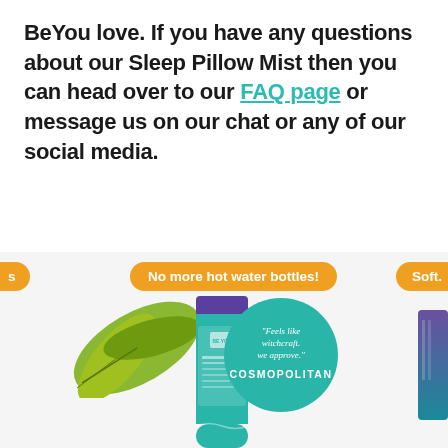BeYou love. If you have any questions about our Sleep Pillow Mist then you can head over to our FAQ page or message us on our chat or any of our social media.
[Figure (photo): Promotional banner with orange pill-shaped labels reading partial text on left ('s'), 'No more hot water bottles!' in center, and 'Soft.' on right. Below is a product image on light gray background showing a green teal tube product with BeYou branding, green leaves, a teal circular badge quoting 'Feels like witchcraft. we approve.' attributed to Cosmopolitan, and a partially visible purple/teal product on the far right.]